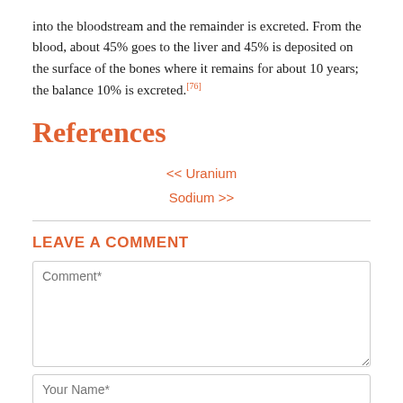into the bloodstream and the remainder is excreted. From the blood, about 45% goes to the liver and 45% is deposited on the surface of the bones where it remains for about 10 years; the balance 10% is excreted.[76]
References
<< Uranium
Sodium >>
LEAVE A COMMENT
Comment*
Your Name*